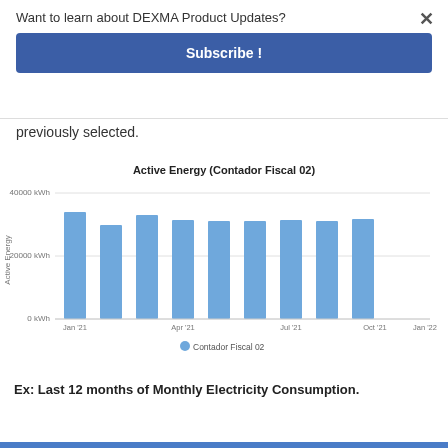Want to learn about DEXMA Product Updates?
Subscribe !
previously selected.
[Figure (bar-chart): Active Energy (Contador Fiscal 02)]
Ex: Last 12 months of Monthly Electricity Consumption.